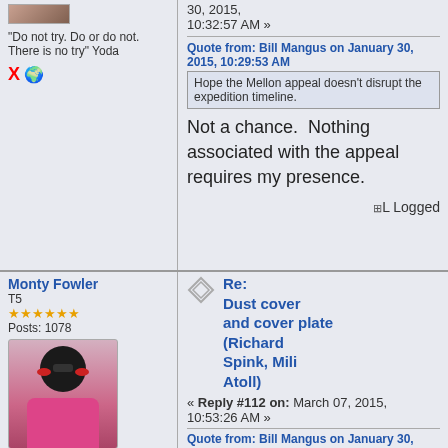"Do not try. Do or do not. There is no try" Yoda
X 🌐
Quote from: Bill Mangus on January 30, 2015, 10:29:53 AM
Hope the Mellon appeal doesn't disrupt the expedition timeline.
Not a chance.  Nothing associated with the appeal requires my presence.
Logged
Monty Fowler
T5
Posts: 1078
[Figure (photo): Avatar of Monty Fowler - pink fluffy creature with dark round head and sunglasses]
"The real answer is always the right answer."
X
Re: Dust cover and cover plate (Richard Spink, Mili Atoll)
« Reply #112 on: March 07, 2015, 10:53:26 AM »
Quote from: Bill Mangus on January 30, 2015, 10:29:53 AM